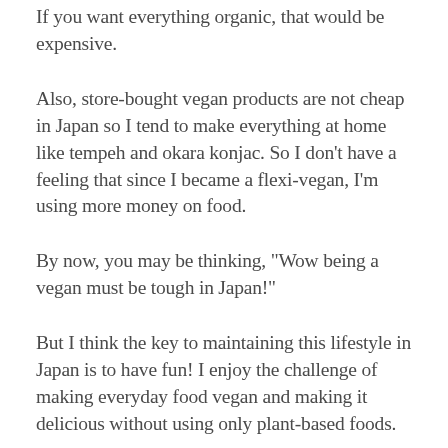If you want everything organic, that would be expensive.
Also, store-bought vegan products are not cheap in Japan so I tend to make everything at home like tempeh and okara konjac. So I don’t have a feeling that since I became a flexi-vegan, I’m using more money on food.
By now, you may be thinking, “Wow being a vegan must be tough in Japan!”
But I think the key to maintaining this lifestyle in Japan is to have fun! I enjoy the challenge of making everyday food vegan and making it delicious without using only plant-based foods.
Even if you are not into cooking, there